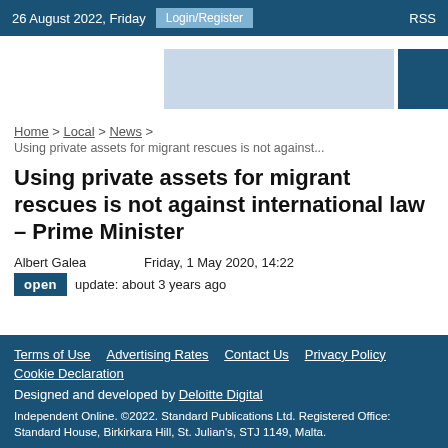26 August 2022, Friday   Login/Register   RSS
[Figure (other): Advertisement banner area with light blue placeholder and dark blue square on the right]
Home > Local > News >
Using private assets for migrant rescues is not against...
Using private assets for migrant rescues is not against international law – Prime Minister
Albert Galea   Friday, 1 May 2020, 14:22
open   update: about 3 years ago
Terms of Use   Advertising Rates   Contact Us   Privacy Policy   Cookie Declaration
Designed and developed by Deloitte Digital
Independent Online. ©2022. Standard Publications Ltd. Registered Office: Standard House, Birkirkara Hill, St. Julian's, STJ 1149, Malta.